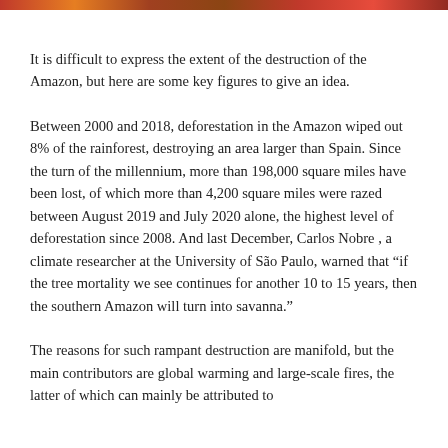[Figure (photo): Partial view of a colorful image strip at the top of the page, showing warm reddish-orange tones suggesting Amazon forest or fire imagery.]
It is difficult to express the extent of the destruction of the Amazon, but here are some key figures to give an idea.
Between 2000 and 2018, deforestation in the Amazon wiped out 8% of the rainforest, destroying an area larger than Spain. Since the turn of the millennium, more than 198,000 square miles have been lost, of which more than 4,200 square miles were razed between August 2019 and July 2020 alone, the highest level of deforestation since 2008. And last December, Carlos Nobre , a climate researcher at the University of São Paulo, warned that “if the tree mortality we see continues for another 10 to 15 years, then the southern Amazon will turn into savanna.”
The reasons for such rampant destruction are manifold, but the main contributors are global warming and large-scale fires, the latter of which can mainly be attributed to